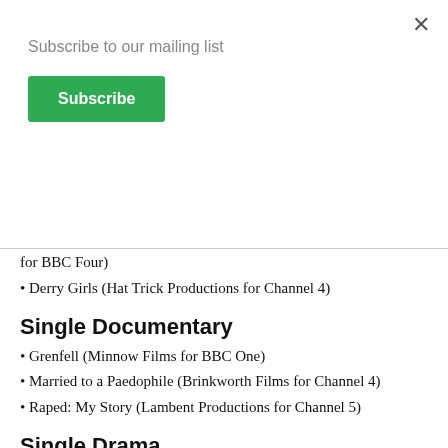Subscribe to our mailing list
Subscribe
for BBC Four)
Derry Girls (Hat Trick Productions for Channel 4)
Single Documentary
Grenfell (Minnow Films for BBC One)
Married to a Paedophile (Brinkworth Films for Channel 4)
Raped: My Story (Lambent Productions for Channel 5)
Single Drama
Killed By My Debt (BBC Studios: The